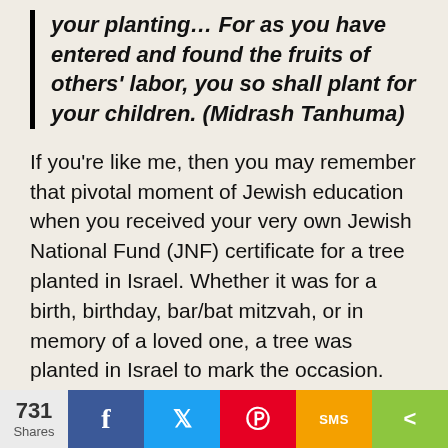your planting… For as you have entered and found the fruits of others' labor, you so shall plant for your children. (Midrash Tanhuma)
If you're like me, then you may remember that pivotal moment of Jewish education when you received your very own Jewish National Fund (JNF) certificate for a tree planted in Israel. Whether it was for a birth, birthday, bar/bat mitzvah, or in memory of a loved one, a tree was planted in Israel to mark the occasion. The message was clear: with every passing milestone we want to connect Jews to the Land of Israel and to the Zionist enterprise. All of us who were the fortunate recipients of such trees knew in the recesses of our mind that somewhere in that strip of land, in some forest, was
731 Shares | Facebook | Twitter | Pinterest | SMS | Share